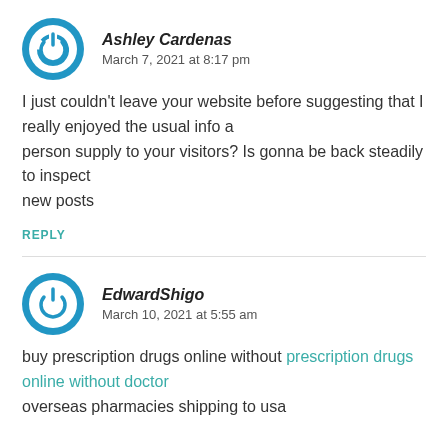Ashley Cardenas
March 7, 2021 at 8:17 pm
I just couldn't leave your website before suggesting that I really enjoyed the usual info a person supply to your visitors? Is gonna be back steadily to inspect new posts
REPLY
EdwardShigo
March 10, 2021 at 5:55 am
buy prescription drugs online without prescription drugs online without doctor overseas pharmacies shipping to usa